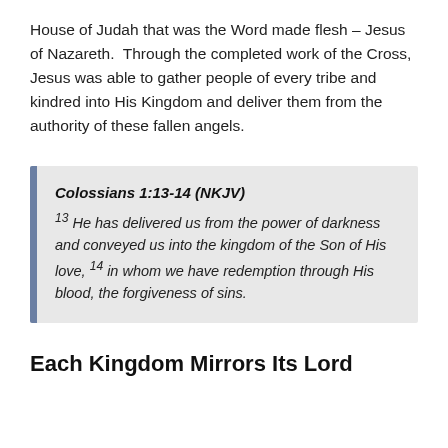House of Judah that was the Word made flesh – Jesus of Nazareth.  Through the completed work of the Cross, Jesus was able to gather people of every tribe and kindred into His Kingdom and deliver them from the authority of these fallen angels.
Colossians 1:13-14 (NKJV)
13 He has delivered us from the power of darkness and conveyed us into the kingdom of the Son of His love, 14 in whom we have redemption through His blood, the forgiveness of sins.
Each Kingdom Mirrors Its Lord